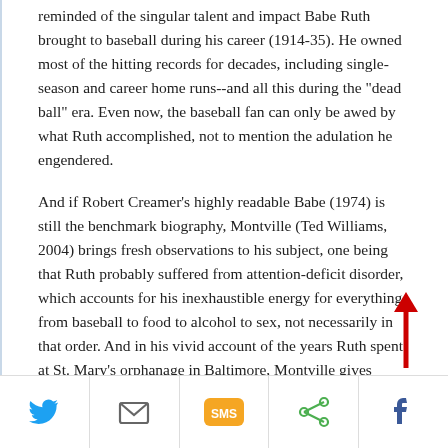reminded of the singular talent and impact Babe Ruth brought to baseball during his career (1914-35). He owned most of the hitting records for decades, including single-season and career home runs--and all this during the "dead ball" era. Even now, the baseball fan can only be awed by what Ruth accomplished, not to mention the adulation he engendered.

And if Robert Creamer's highly readable Babe (1974) is still the benchmark biography, Montville (Ted Williams, 2004) brings fresh observations to his subject, one being that Ruth probably suffered from attention-deficit disorder, which accounts for his inexhaustible energy for everything from baseball to food to alcohol to sex, not necessarily in that order. And in his vivid account of the years Ruth spent at St. Mary's orphanage in Baltimore, Montville gives readers the measure of what made the man. Montville has also carefully sifted the factual from the hearsay, leaving us with a volume that's reliable, readable, and deserving of a place in the sports or American culture collection.
Social share icons: Twitter, Email, SMS, Share, Facebook